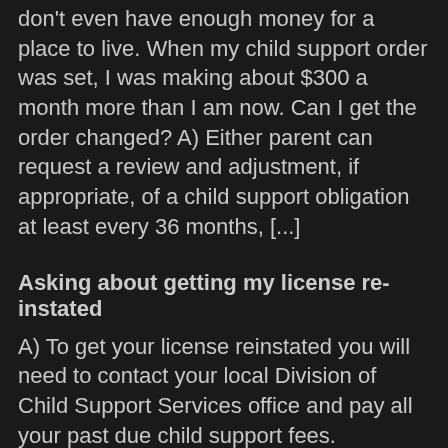Q) After I pay my child support, I don't even have enough money for a place to live. When my child support order was set, I was making about $300 a month more than I am now. Can I get the order changed? A) Either parent can request a review and adjustment, if appropriate, of a child support obligation at least every 36 months, [...]
Asking about getting my license re-instated
A) To get your license reinstated you will need to contact your local Division of Child Support Services office and pay all your past due child support fees. Additional information will be available on your state Child Support Services website. In most states past due payments can be made by mail, in person, or online.